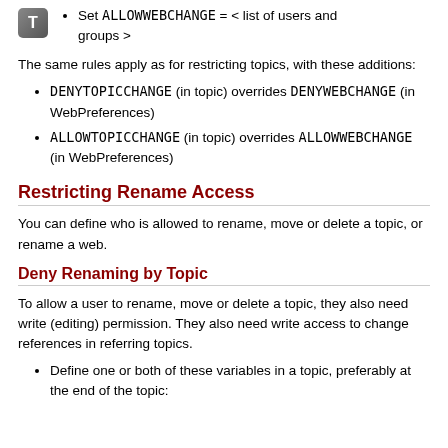Set ALLOWWEBCHANGE = < list of users and groups >
The same rules apply as for restricting topics, with these additions:
DENYTOPICCHANGE (in topic) overrides DENYWEBCHANGE (in WebPreferences)
ALLOWTOPICCHANGE (in topic) overrides ALLOWWEBCHANGE (in WebPreferences)
Restricting Rename Access
You can define who is allowed to rename, move or delete a topic, or rename a web.
Deny Renaming by Topic
To allow a user to rename, move or delete a topic, they also need write (editing) permission. They also need write access to change references in referring topics.
Define one or both of these variables in a topic, preferably at the end of the topic: